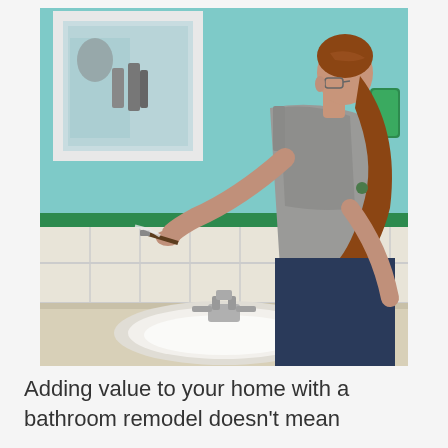[Figure (photo): A woman with red hair in a ponytail, wearing a grey sleeveless top and glasses, leans over a bathroom sink applying paint or caulk with a small brush along green painter's tape on white bathroom tiles. The walls are light blue, and a white-framed mirror is visible. The sink has chrome faucets.]
Adding value to your home with a bathroom remodel doesn't mean